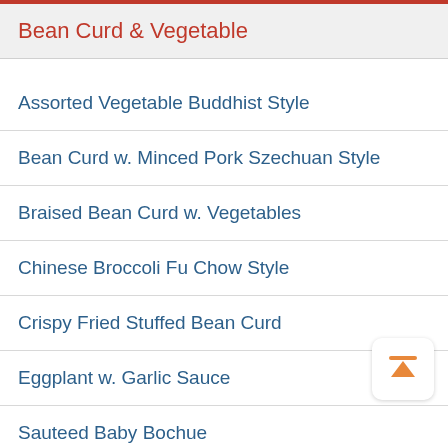Bean Curd & Vegetable
Assorted Vegetable Buddhist Style
Bean Curd w. Minced Pork Szechuan Style
Braised Bean Curd w. Vegetables
Chinese Broccoli Fu Chow Style
Crispy Fried Stuffed Bean Curd
Eggplant w. Garlic Sauce
Sauteed Baby Bochue
Sauteed Mixed Vegetable
Sauteed Snow Peastips
Sauteed String Bean